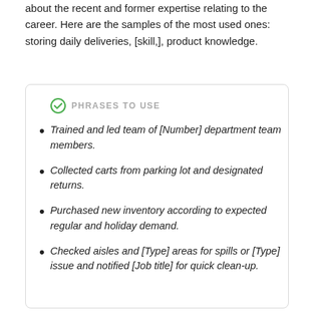about the recent and former expertise relating to the career. Here are the samples of the most used ones: storing daily deliveries, [skill,], product knowledge.
PHRASES TO USE
Trained and led team of [Number] department team members.
Collected carts from parking lot and designated returns.
Purchased new inventory according to expected regular and holiday demand.
Checked aisles and [Type] areas for spills or [Type] issue and notified [Job title] for quick clean-up.